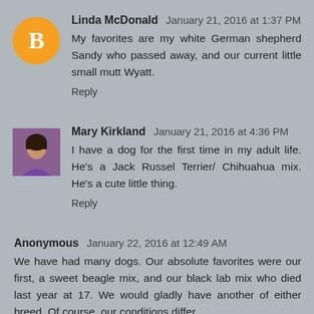Linda McDonald   January 21, 2016 at 1:37 PM
My favorites are my white German shepherd Sandy who passed away, and our current little small mutt Wyatt.
Reply
[Figure (illustration): Blogger default avatar: orange circle with white letter B]
Mary Kirkland   January 21, 2016 at 4:36 PM
I have a dog for the first time in my adult life. He's a Jack Russel Terrier/ Chihuahua mix. He's a cute little thing.
Reply
[Figure (photo): Profile photo of Mary Kirkland, woman in purple top]
Anonymous   January 22, 2016 at 12:49 AM
We have had many dogs. Our absolute favorites were our first, a sweet beagle mix, and our black lab mix who died last year at 17. We would gladly have another of either breed. Of course, our conditions differ...